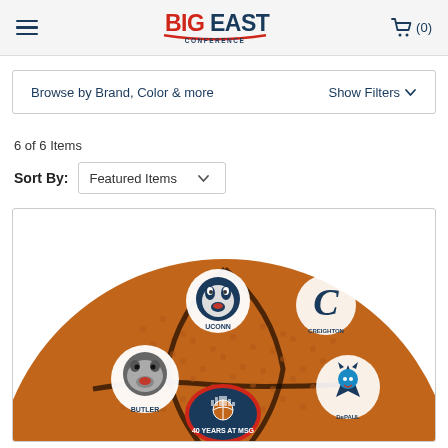[Figure (logo): BIG EAST Conference logo in red and navy blue]
Browse by Brand, Color & more
Show Filters
6 of 6 Items
Sort By: Featured Items
[Figure (photo): Close-up of a basketball with multiple college team logos (UConn Husky, Creighton Bluejay, Butler Bulldog, DePaul Blue Demon) and a 40 Years at MSG commemorative pin on top of the ball]